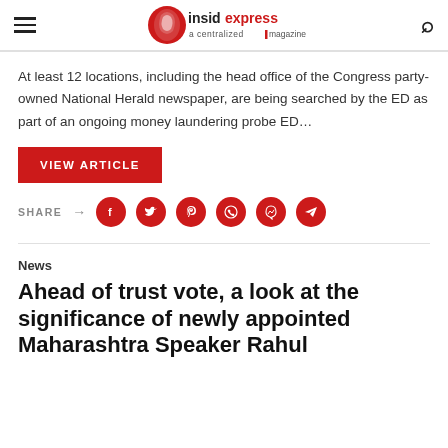insidexpress a centralized magazine
At least 12 locations, including the head office of the Congress party-owned National Herald newspaper, are being searched by the ED as part of an ongoing money laundering probe ED…
VIEW ARTICLE
SHARE →
News
Ahead of trust vote, a look at the significance of newly appointed Maharashtra Speaker Rahul